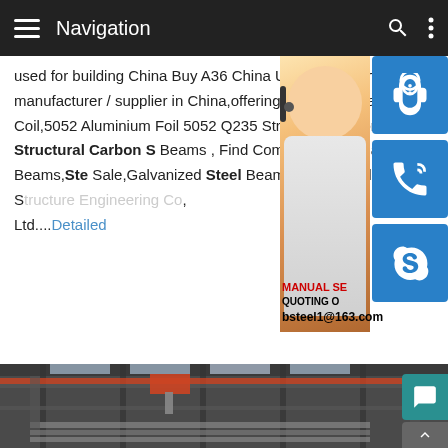Navigation
used for building China Buy A36 China Us H Beam China H Beam .H Beam,Q235B H manufacturer / supplier in China,offering U Sale H Beam,Mild Steel Plate Q235,Ss400 Aluminum Coil,5052 Aluminium Foil 5052 Q235 Structural Carbon Steel Profile Stee 2018 · Q345b Q235 Structural Carbon S Beams , Find Complete Details about Q34 Carbon Steel Profile Steel H Beams,Ste Sale,Galvanized Steel Beams,Used Steel or Manufacturer-Henan Canglong Steel Structure Engineering Co, Ltd....Detailed
[Figure (photo): Customer service representative woman with headset, smiling, with blue icon buttons on right side for headset, phone, and Skype. Overlay text shows MANUAL SE... QUOTING O... bsteel1@163.com]
[Figure (photo): Interior of steel manufacturing warehouse/factory with structural steel beams and industrial equipment]